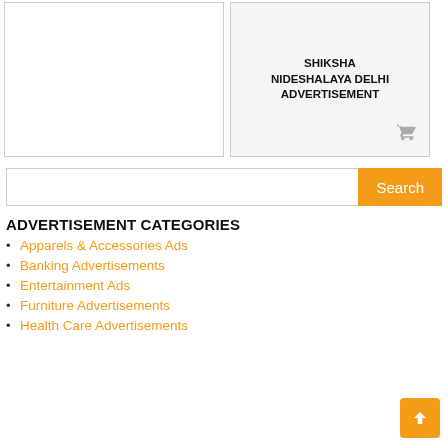[Figure (screenshot): Left card placeholder — white box with border]
[Figure (screenshot): Right card with title SHIKSHA NIDESHALAYA DELHI ADVERTISEMENT and a cart icon]
Search (input bar with orange Search button)
ADVERTISEMENT CATEGORIES
Apparels & Accessories Ads
Banking Advertisements
Entertainment Ads
Furniture Advertisements
Health Care Advertisements